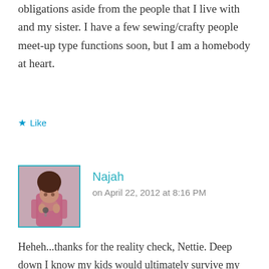obligations aside from the people that I live with and my sister. I have a few sewing/crafty people meet-up type functions soon, but I am a homebody at heart.
★ Like
Najah
on April 22, 2012 at 8:16 PM
Heheh...thanks for the reality check, Nettie. Deep down I know my kids would ultimately survive my neglect (rather I know I wouldn't really be neglecting them). I mostly wanted to